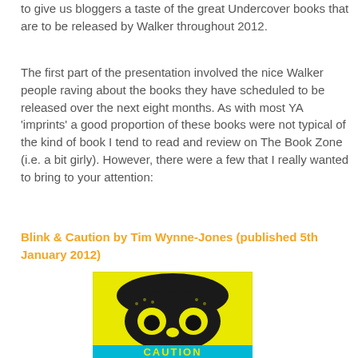to give us bloggers a taste of the great Undercover books that are to be released by Walker throughout 2012.
The first part of the presentation involved the nice Walker people raving about the books they have scheduled to be released over the next eight months. As with most YA 'imprints' a good proportion of these books were not typical of the kind of book I tend to read and review on The Book Zone (i.e. a bit girly). However, there were a few that I really wanted to bring to your attention:
Blink & Caution by Tim Wynne-Jones (published 5th January 2012)
[Figure (photo): Book cover of 'Blink & Caution' showing a yellow background with a stylized black skull/face graphic and the word CAUTION in cyan letters at the bottom]